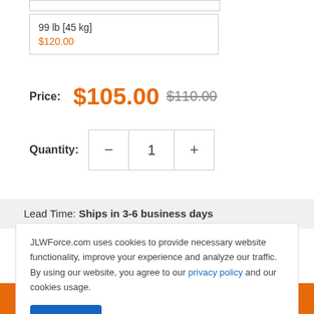99 lb [45 kg] $120.00
Price: $105.00 $110.00
Quantity: 1
Lead Time: Ships in 3-6 business days
JLWForce.com uses cookies to provide necessary website functionality, improve your experience and analyze our traffic. By using our website, you agree to our privacy policy and our cookies usage.
Accept
Add to cart